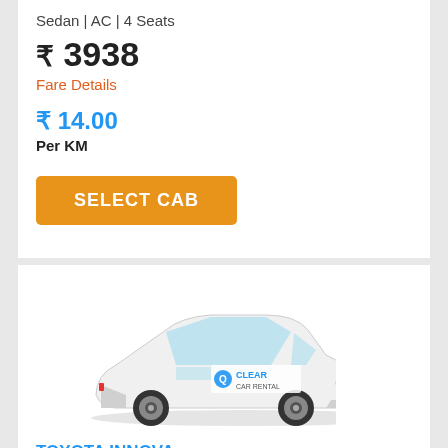Sedan | AC | 4 Seats
₹ 3938
Fare Details
₹ 14.00
Per KM
SELECT CAB
[Figure (photo): White Toyota Innova SUV with Clear Car Rental logo on the door]
TOYOTA INNOVA
SUV | AC | 6 Seats
₹ 6300